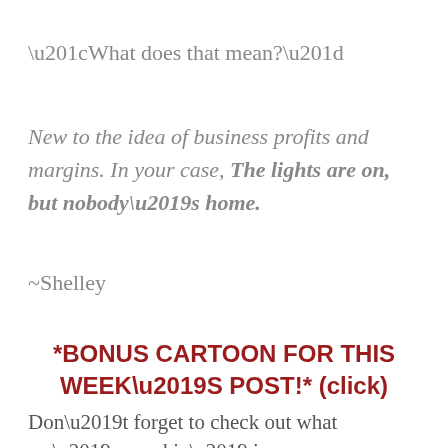“What does that mean?”
New to the idea of business profits and margins. In your case, The lights are on, but nobody’s home.
~Shelley
*BONUS CARTOON FOR THIS WEEK’S POST!* (click)
Don’t forget to check out what we’re cookin’ in